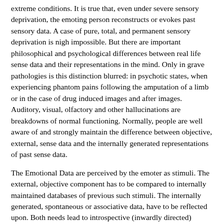extreme conditions. It is true that, even under severe sensory deprivation, the emoting person reconstructs or evokes past sensory data. A case of pure, total, and permanent sensory deprivation is nigh impossible. But there are important philosophical and psychological differences between real life sense data and their representations in the mind. Only in grave pathologies is this distinction blurred: in psychotic states, when experiencing phantom pains following the amputation of a limb or in the case of drug induced images and after images. Auditory, visual, olfactory and other hallucinations are breakdowns of normal functioning. Normally, people are well aware of and strongly maintain the difference between objective, external, sense data and the internally generated representations of past sense data.
The Emotional Data are perceived by the emoter as stimuli. The external, objective component has to be compared to internally maintained databases of previous such stimuli. The internally generated, spontaneous or associative data, have to be reflected upon. Both needs lead to introspective (inwardly directed) activity. The product of introspection is